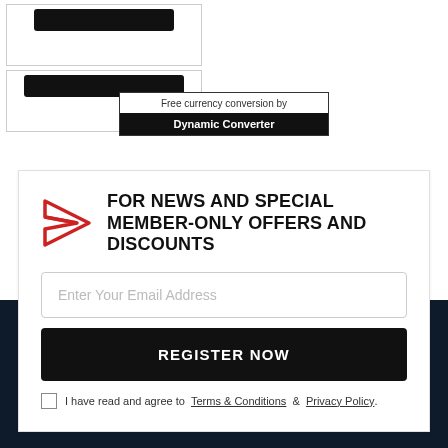[Figure (screenshot): Two card boxes with black buttons at the top of the page]
[Figure (screenshot): Currency conversion widget with text 'Free currency conversion by Dynamic Converter']
FOR NEWS AND SPECIAL MEMBER-ONLY OFFERS AND DISCOUNTS
Enter Your Email Address
REGISTER NOW
I have read and agree to  Terms & Conditions  &  Privacy Policy.
SERVICE